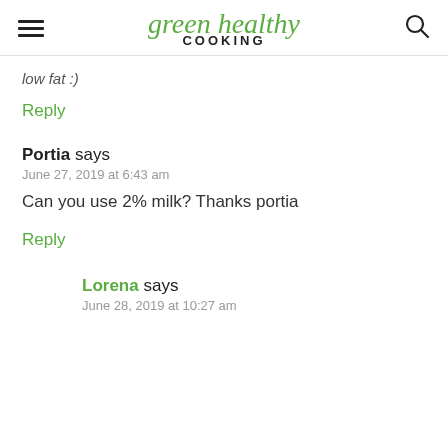green healthy COOKING
low fat :)
Reply
Portia says
June 27, 2019 at 6:43 am
Can you use 2% milk? Thanks portia
Reply
Lorena says
June 28, 2019 at 10:27 am